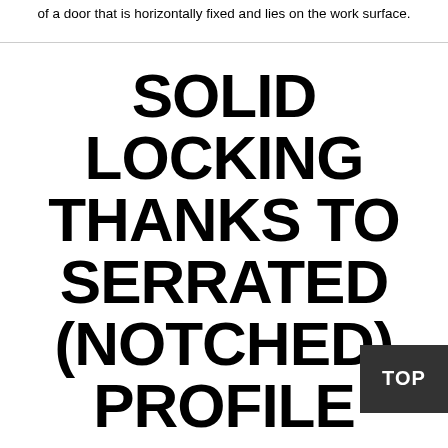of a door that is horizontally fixed and lies on the work surface.
SOLID LOCKING THANKS TO SERRATED (NOTCHED) PROFILE
for maximum strength